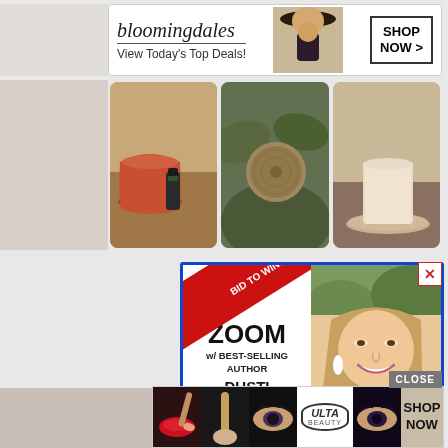[Figure (screenshot): Bloomingdale's advertisement banner: 'View Today's Top Deals!' with fashion model and SHOP NOW button]
[Figure (photo): Three-panel photo strip showing terracotta pots with dark soil/plants, round stone/wooden object among greenery, and a cylindrical candle on plate]
[Figure (screenshot): Auction advertisement for 'BID TO WIN! ZOOM w/ BEST-SELLING AUTHOR DUSTI BOWLING' with photo of smiling woman with long hair. Text: 'Meet her with your school, school district, or writer's group']
[Figure (screenshot): Ulta Beauty advertisement with makeup/eye photos and SHOP NOW button. CLOSE button visible.]